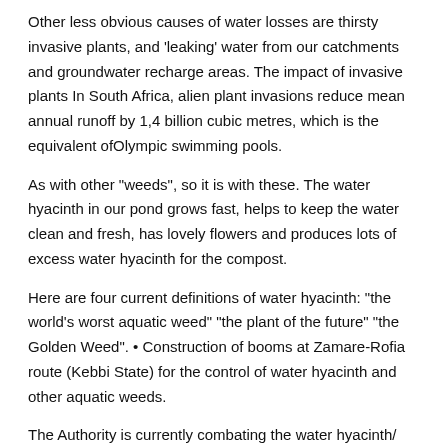Other less obvious causes of water losses are thirsty invasive plants, and 'leaking' water from our catchments and groundwater recharge areas. The impact of invasive plants In South Africa, alien plant invasions reduce mean annual runoff by 1,4 billion cubic metres, which is the equivalent ofOlympic swimming pools.
As with other "weeds", so it is with these. The water hyacinth in our pond grows fast, helps to keep the water clean and fresh, has lovely flowers and produces lots of excess water hyacinth for the compost.
Here are four current definitions of water hyacinth: "the world's worst aquatic weed" "the plant of the future" "the Golden Weed". • Construction of booms at Zamare-Rofia route (Kebbi State) for the control of water hyacinth and other aquatic weeds.
The Authority is currently combating the water hyacinth/ aquatic weeds menace in a number of areas within the country such as: Calabar, Yauri, Igbokoda and Lagos.Water is considered polluted if some substances or condition is present to such a degree that the water cannot be used for a specific purpose.